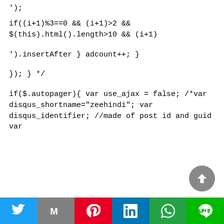');
if((i+1)%3==0 && (i+1)>2 && $(this).html().length>10 && (i+1)
').insertAfter } adcount++; }
}); } */
if($.autopager){ var use_ajax = false; /*var disqus_shortname="zeehindi"; var disqus_identifier; //made of post id and guid var
[Figure (infographic): Social share bar with Twitter, Gmail, Pinterest, LinkedIn, WhatsApp, LINE buttons, and a scroll-to-top button]